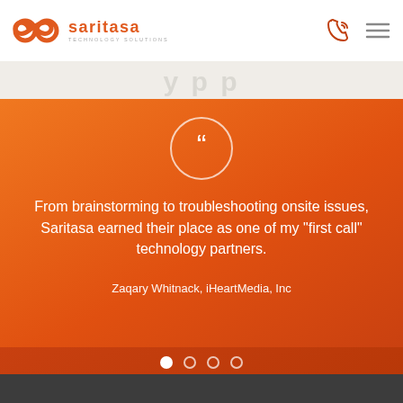Saritasa Technology Solutions
[Figure (screenshot): Saritasa Technology Solutions logo with orange infinity-like symbol and company name]
From brainstorming to troubleshooting onsite issues, Saritasa earned their place as one of my "first call" technology partners.
Zaqary Whitnack, iHeartMedia, Inc